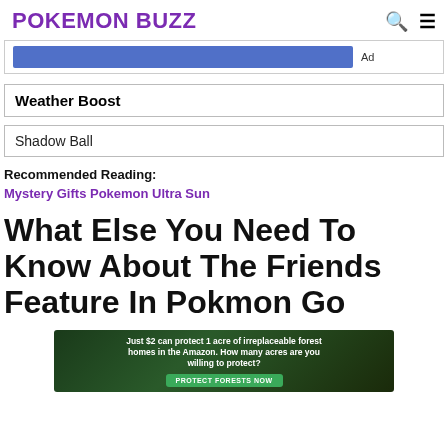POKEMON BUZZ
[Figure (other): Blue advertisement banner with Ad label]
| Weather Boost |
| Shadow Ball |
Recommended Reading:
Mystery Gifts Pokemon Ultra Sun
What Else You Need To Know About The Friends Feature In Pokmon Go
[Figure (photo): Advertisement banner: Just $2 can protect 1 acre of irreplaceable forest homes in the Amazon. How many acres are you willing to protect? PROTECT FORESTS NOW]